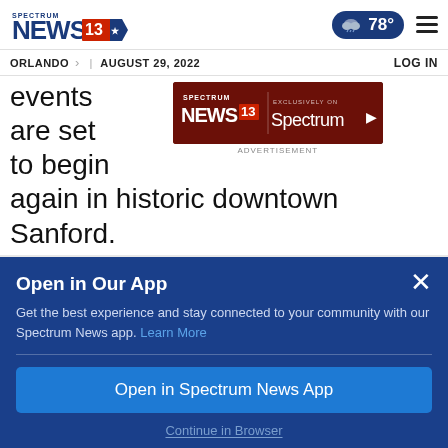SPECTRUM NEWS 13 | ORLANDO > | AUGUST 29, 2022 | 78° | LOG IN
[Figure (screenshot): Spectrum News 13 advertisement banner with red/dark background showing Spectrum News 13 logo and 'EXCLUSIVELY ON Spectrum' text]
ADVERTISEMENT
events are set to begin again in historic downtown Sanford.
Open in Our App
Get the best experience and stay connected to your community with our Spectrum News app. Learn More
Open in Spectrum News App
Continue in Browser